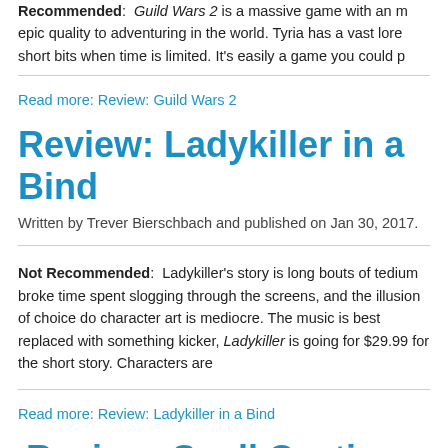Recommended: Guild Wars 2 is a massive game with an epic quality to adventuring in the world. Tyria has a vast lore short bits when time is limited. It's easily a game you could p
Read more: Review: Guild Wars 2
Review: Ladykiller in a Bind
Written by Trever Bierschbach and published on Jan 30, 2017.
Not Recommended: Ladykiller's story is long bouts of tedium broken time spent slogging through the screens, and the illusion of choice do character art is mediocre. The music is best replaced with something kicker, Ladykiller is going for $29.99 for the short story. Characters are
Read more: Review: Ladykiller in a Bind
Review: Spell Casting - M
Written by Trever Bierschbach and published on Nov 21, 20